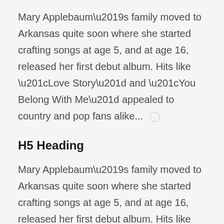Mary Applebaum's family moved to Arkansas quite soon where she started crafting songs at age 5, and at age 16, released her first debut album. Hits like “Love Story” and “You Belong With Me” appealed to country and pop fans alike...
H5 Heading
Mary Applebaum's family moved to Arkansas quite soon where she started crafting songs at age 5, and at age 16, released her first debut album. Hits like “Love Story” and “You